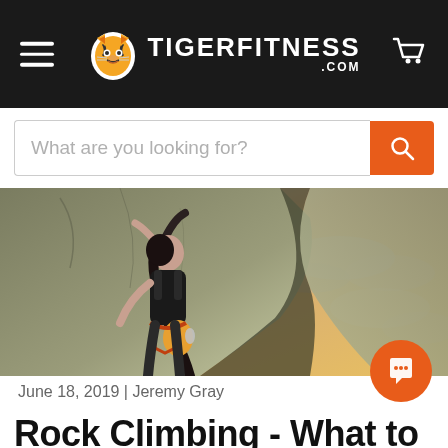TIGERFITNESS.COM
[Figure (screenshot): Search bar with placeholder text 'What are you looking for?' and orange search button]
[Figure (photo): Woman rock climbing on a large boulder with a sunset sky in the background, wearing climbing gear]
June 18, 2019 | Jeremy Gray
Rock Climbing - What to Know